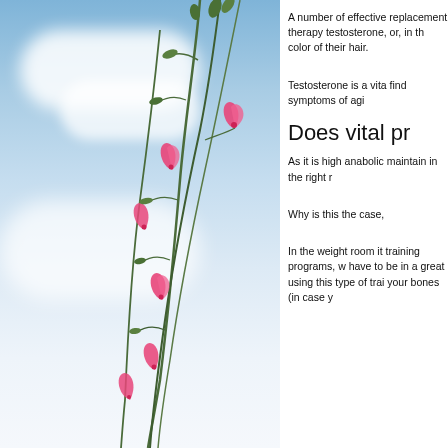[Figure (photo): Blurred outdoor photo showing pink tubular flowers on green stems against a blue sky with white clouds. The image occupies the left ~60% of the page.]
A number of effective replacement therapy testosterone, or, in th color of their hair.
Testosterone is a vita find symptoms of agi
Does vital pr
As it is high anabolic maintain in the right r
Why is this the case,
In the weight room it training programs, w have to be in a great using this type of trai your bones (in case y